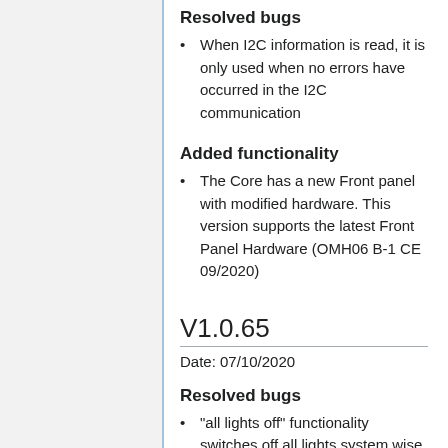Resolved bugs
When I2C information is read, it is only used when no errors have occurred in the I2C communication
Added functionality
The Core has a new Front panel with modified hardware. This version supports the latest Front Panel Hardware (OMH06 B-1 CE 09/2020)
V1.0.65
Date: 07/10/2020
Resolved bugs
"all lights off" functionality switches off all lights system wise but the remote modules did not always follow due to timings issues. This is